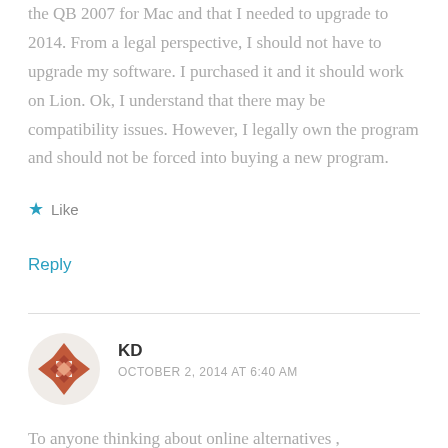the QB 2007 for Mac and that I needed to upgrade to 2014. From a legal perspective, I should not have to upgrade my software. I purchased it and it should work on Lion. Ok, I understand that there may be compatibility issues. However, I legally own the program and should not be forced into buying a new program.
Like
Reply
KD
OCTOBER 2, 2014 AT 6:40 AM
To anyone thinking about online alternatives , please check your math. Using Xero as a comparator,